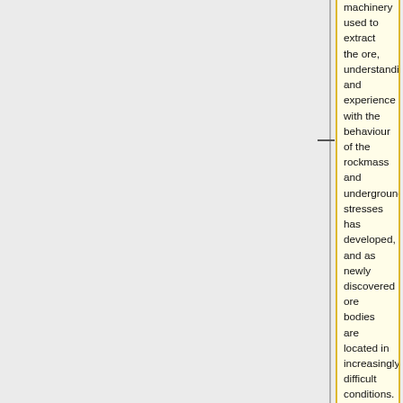machinery used to extract the ore, understanding and experience with the behaviour of the rockmass and underground stresses has developed, and as newly discovered ore bodies are located in increasingly difficult conditions.
== Mining Method Classification ==
From a geomechanical perspective, mining